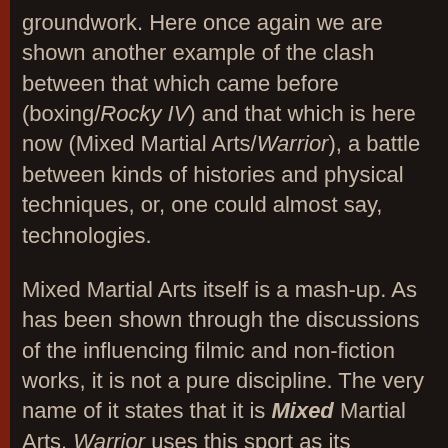groundwork. Here once again we are shown another example of the clash between that which came before (boxing/Rocky IV) and that which is here now (Mixed Martial Arts/Warrior), a battle between kinds of histories and physical techniques, or, one could almost say, technologies.
Mixed Martial Arts itself is a mash-up. As has been shown through the discussions of the influencing filmic and non-fiction works, it is not a pure discipline. The very name of it states that it is Mixed Martial Arts. Warrior uses this sport as its playground for precisely this reason. Instead of using a stripped down, unadulterated athletic field